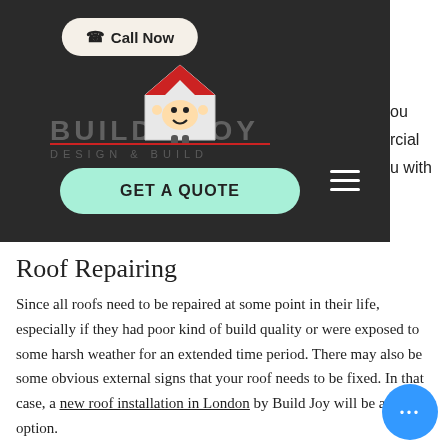[Figure (screenshot): Website navigation bar with dark background showing Call Now button, Build Joy logo with house mascot, GET A QUOTE button, and hamburger menu]
Roof Repairing
Since all roofs need to be repaired at some point in their life, especially if they had poor kind of build quality or were exposed to some harsh weather for an extended time period. There may also be some obvious external signs that your roof needs to be fixed. In that case, a new roof installation in London by Build Joy will be a better option.
How much does a new roof cost?